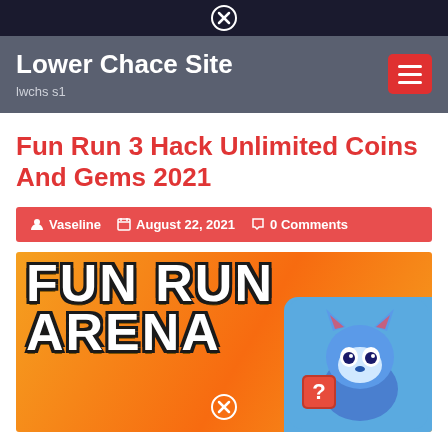Lower Chace Site
lwchs s1
Fun Run 3 Hack Unlimited Coins And Gems 2021
Vaseline   August 22, 2021   0 Comments
[Figure (photo): Fun Run Arena game promotional image with large white bold text reading FUN RUN ARENA on orange/yellow gradient background, with a cartoon blue fox character in bottom right corner]